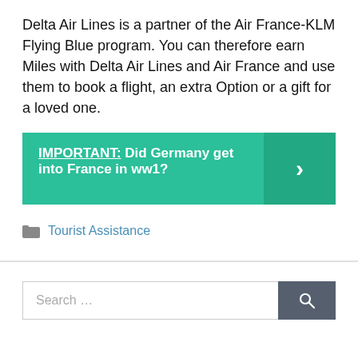Delta Air Lines is a partner of the Air France-KLM Flying Blue program. You can therefore earn Miles with Delta Air Lines and Air France and use them to book a flight, an extra Option or a gift for a loved one.
[Figure (infographic): Teal/green call-to-action banner with bold white text reading 'IMPORTANT: Did Germany get into France in ww1?' and a right-pointing chevron arrow on the right side on a darker teal background.]
Tourist Assistance
[Figure (other): Search bar with placeholder text 'Search ...' and a dark grey search button with magnifying glass icon.]